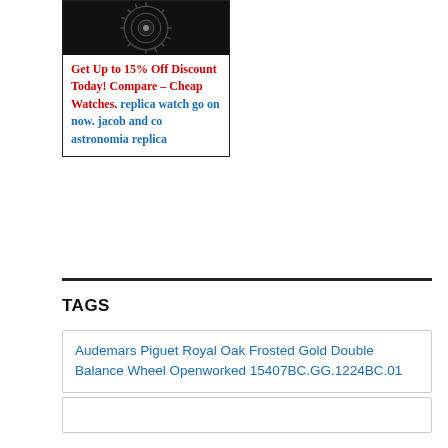[Figure (photo): Dark watch movement/gear image at top of advertisement box]
Get Up to 15% Off Discount Today! Compare – Cheap Watches. replica watch go on now. jacob and co astronomia replica
TAGS
Audemars Piguet Royal Oak Frosted Gold Double Balance Wheel Openworked 15407BC.GG.1224BC.01